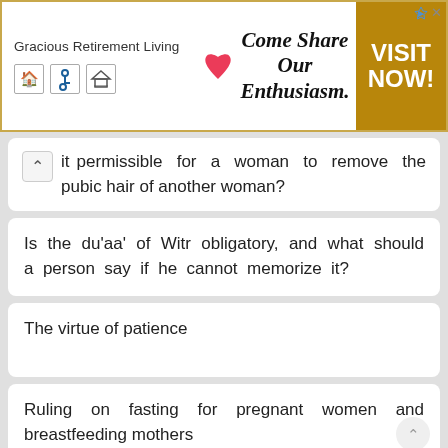[Figure (other): Advertisement banner for Gracious Retirement Living. Text: 'Gracious Retirement Living Come Share Our Enthusiasm. VISIT NOW!']
it permissible for a woman to remove the pubic hair of another woman?
Is the du'aa' of Witr obligatory, and what should a person say if he cannot memorize it?
The virtue of patience
Ruling on fasting for pregnant women and breastfeeding mothers
Wife complaining of husband's mistreatment